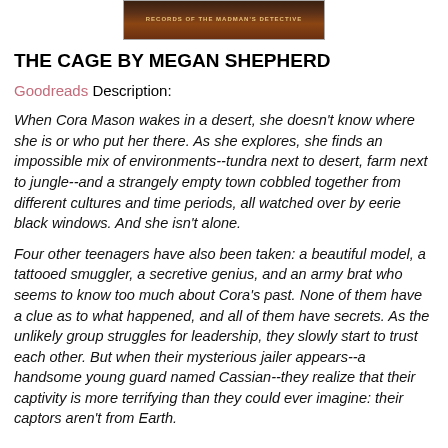[Figure (photo): Book cover image for The Cage by Megan Shepherd showing a dark forest/jungle scene with red title text]
THE CAGE BY MEGAN SHEPHERD
Goodreads Description:
When Cora Mason wakes in a desert, she doesn't know where she is or who put her there. As she explores, she finds an impossible mix of environments--tundra next to desert, farm next to jungle--and a strangely empty town cobbled together from different cultures and time periods, all watched over by eerie black windows. And she isn't alone.
Four other teenagers have also been taken: a beautiful model, a tattooed smuggler, a secretive genius, and an army brat who seems to know too much about Cora's past. None of them have a clue as to what happened, and all of them have secrets. As the unlikely group struggles for leadership, they slowly start to trust each other. But when their mysterious jailer appears--a handsome young guard named Cassian--they realize that their captivity is more terrifying than they could ever imagine: their captors aren't from Earth.